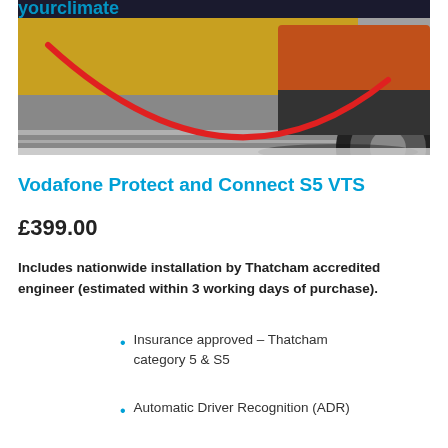[Figure (photo): Partial view of a car on a road with a red curved line overlay and 'yourclimate' text partially visible at top left]
Vodafone Protect and Connect S5 VTS
£399.00
Includes nationwide installation by Thatcham accredited engineer (estimated within 3 working days of purchase).
Insurance approved – Thatcham category 5 & S5
Automatic Driver Recognition (ADR)